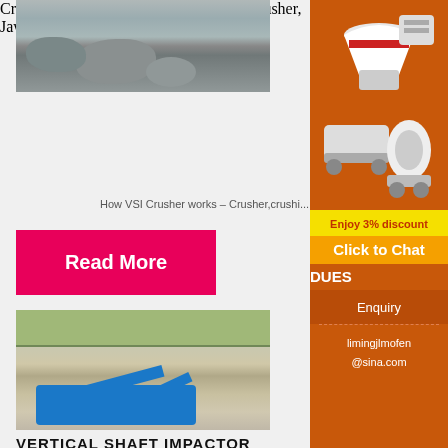[Figure (photo): Aerial or close-up photo of crushed stone/rocks at a quarry or crusher facility - grey rocky material]
Crushers Works | Crusher Mills, Cone Crusher, Jaw
How VSI Crusher works – Crusher,crushi...
Read More
[Figure (photo): Outdoor quarry site with blue mobile crushing/screening machinery on sandy/limestone ground, cliff face in background]
VERTICAL SHAFT IMPACTOR
[Figure (illustration): Sidebar advertisement showing industrial crushing equipment machines (cone crusher, jaw crusher, mill) on orange background with discount and contact information]
Enjoy 3% discount
Click to Chat
DUES
Enquiry
limingjlmofen
@sina.com